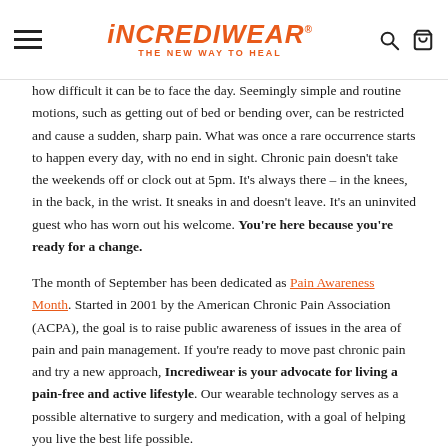INCREDIWEAR® THE NEW WAY TO HEAL
how difficult it can be to face the day. Seemingly simple and routine motions, such as getting out of bed or bending over, can be restricted and cause a sudden, sharp pain. What was once a rare occurrence starts to happen every day, with no end in sight. Chronic pain doesn't take the weekends off or clock out at 5pm. It's always there – in the knees, in the back, in the wrist. It sneaks in and doesn't leave. It's an uninvited guest who has worn out his welcome. You're here because you're ready for a change.
The month of September has been dedicated as Pain Awareness Month. Started in 2001 by the American Chronic Pain Association (ACPA), the goal is to raise public awareness of issues in the area of pain and pain management. If you're ready to move past chronic pain and try a new approach, Incrediwear is your advocate for living a pain-free and active lifestyle. Our wearable technology serves as a possible alternative to surgery and medication, with a goal of helping you live the best life possible.